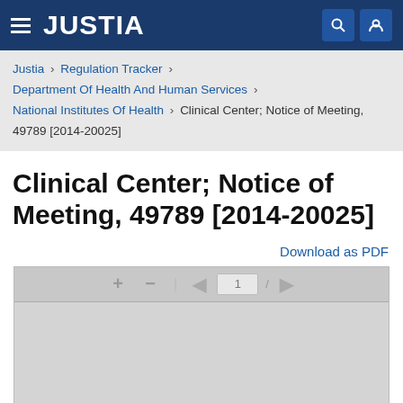JUSTIA
Justia › Regulation Tracker › Department Of Health And Human Services › National Institutes Of Health › Clinical Center; Notice of Meeting, 49789 [2014-20025]
Clinical Center; Notice of Meeting, 49789 [2014-20025]
Download as PDF
[Figure (screenshot): PDF viewer toolbar with +, -, previous page, page number input showing 1, and next page navigation buttons on a gray background]